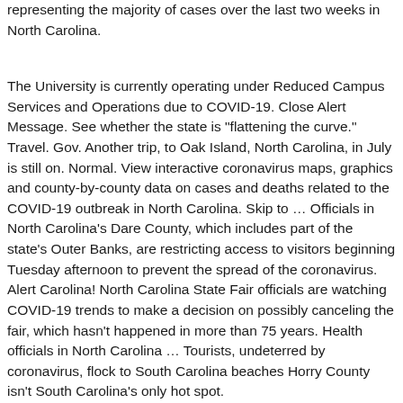representing the majority of cases over the last two weeks in North Carolina.
The University is currently operating under Reduced Campus Services and Operations due to COVID-19. Close Alert Message. See whether the state is "flattening the curve." Travel. Gov. Another trip, to Oak Island, North Carolina, in July is still on. Normal. View interactive coronavirus maps, graphics and county-by-county data on cases and deaths related to the COVID-19 outbreak in North Carolina. Skip to … Officials in North Carolina's Dare County, which includes part of the state's Outer Banks, are restricting access to visitors beginning Tuesday afternoon to prevent the spread of the coronavirus. Alert Carolina! North Carolina State Fair officials are watching COVID-19 trends to make a decision on possibly canceling the fair, which hasn't happened in more than 75 years. Health officials in North Carolina … Tourists, undeterred by coronavirus, flock to South Carolina beaches Horry County isn't South Carolina's only hot spot.